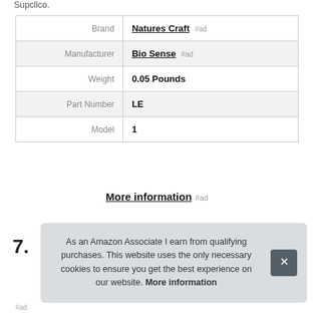Supcllco.
| Field | Value |
| --- | --- |
| Brand | Natures Craft #ad |
| Manufacturer | Bio Sense #ad |
| Weight | 0.05 Pounds |
| Part Number | LE |
| Model | 1 |
More information #ad
7.
As an Amazon Associate I earn from qualifying purchases. This website uses the only necessary cookies to ensure you get the best experience on our website. More information
#ad